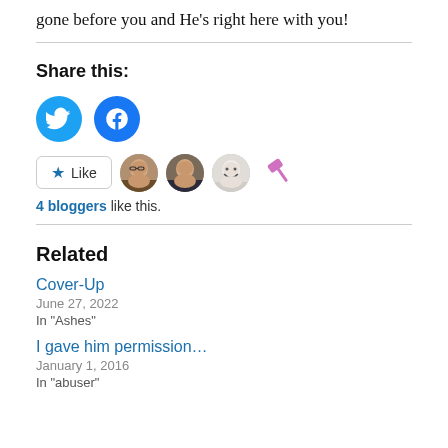gone before you and He's right here with you!
Share this:
[Figure (infographic): Twitter and Facebook share buttons (blue circular icons)]
[Figure (infographic): Like button with star icon, three blogger avatars, and a hammer/tool icon]
4 bloggers like this.
Related
Cover-Up
June 27, 2022
In "Ashes"
I gave him permission…
January 1, 2016
In "abuser"